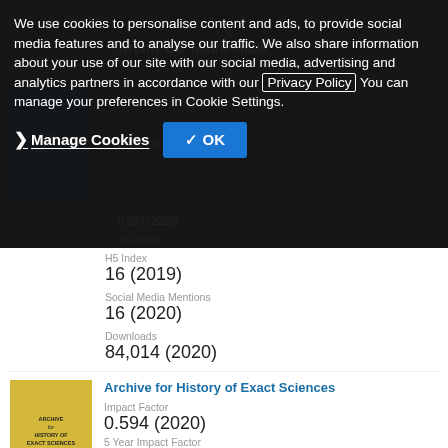We use cookies to personalise content and ads, to provide social media features and to analyse our traffic. We also share information about your use of our site with our social media, advertising and analytics partners in accordance with our Privacy Policy. You can manage your preferences in Cookie Settings.
Manage Cookies
✓ OK
16 (2019)
Social Media Mentions
16 (2020)
Downloads
84,014 (2020)
Archive for History of Exact Sciences
Impact Factor
0.594 (2020)
5 Year Impact Factor
0.605 (2020)